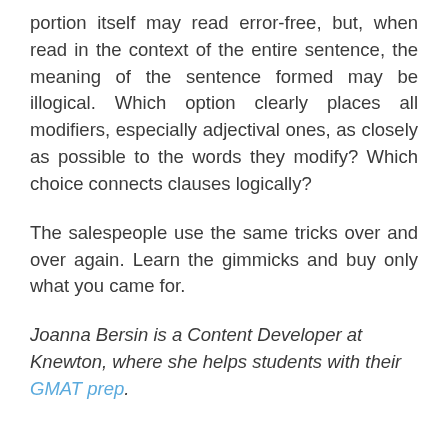portion itself may read error-free, but, when read in the context of the entire sentence, the meaning of the sentence formed may be illogical. Which option clearly places all modifiers, especially adjectival ones, as closely as possible to the words they modify? Which choice connects clauses logically?
The salespeople use the same tricks over and over again. Learn the gimmicks and buy only what you came for.
Joanna Bersin is a Content Developer at Knewton, where she helps students with their GMAT prep.